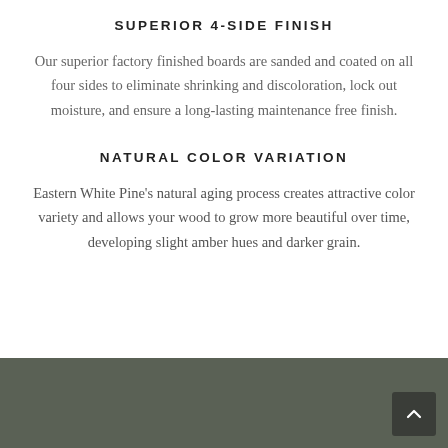SUPERIOR 4-SIDE FINISH
Our superior factory finished boards are sanded and coated on all four sides to eliminate shrinking and discoloration, lock out moisture, and ensure a long-lasting maintenance free finish.
NATURAL COLOR VARIATION
Eastern White Pine's natural aging process creates attractive color variety and allows your wood to grow more beautiful over time, developing slight amber hues and darker grain.